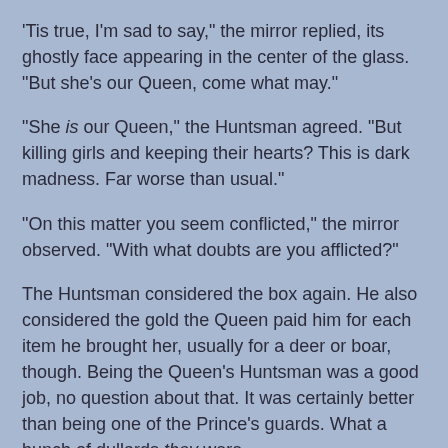'Tis true, I'm sad to say," the mirror replied, its ghostly face appearing in the center of the glass. "But she's our Queen, come what may."
"She is our Queen," the Huntsman agreed. "But killing girls and keeping their hearts? This is dark madness. Far worse than usual."
"On this matter you seem conflicted," the mirror observed. "With what doubts are you afflicted?"
The Huntsman considered the box again. He also considered the gold the Queen paid him for each item he brought her, usually for a deer or boar, though. Being the Queen's Huntsman was a good job, no question about that. It was certainly better than being one of the Prince's guards. What a bunch of dullards they were....
"None, really," said the Huntsman. "I'm sure the girl's blood runs as red as a stag's."
"Skin of white and blood of red," said the mirror. "No matter,